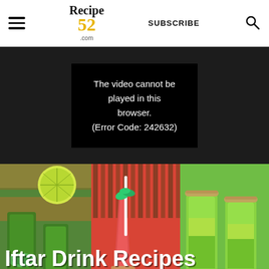Recipe 52 .com — SUBSCRIBE [search icon]
[Figure (screenshot): Video player showing error message: The video cannot be played in this browser. (Error Code: 242632)]
The video cannot be played in this browser. (Error Code: 242632)
[Figure (photo): Collage of three drink photos: green juice with lime, red strawberry smoothie with mint and straw, and green drinks in rimmed glasses. Text overlay reads 'Iftar Drink Recipes']
Iftar Drink Recipes